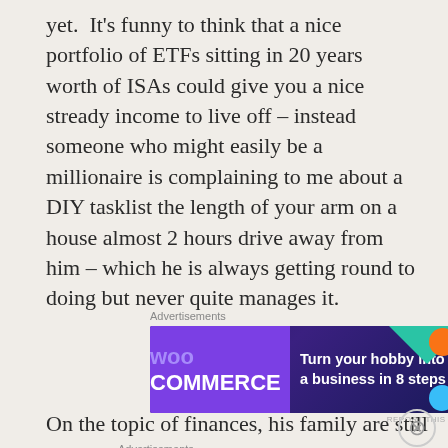yet.  It's funny to think that a nice portfolio of ETFs sitting in 20 years worth of ISAs could give you a nice stready income to live off – instead someone who might easily be a millionaire is complaining to me about a DIY tasklist the length of your arm on a house almost 2 hours drive away from him – which he is always getting round to doing but never quite manages it.
Advertisements
[Figure (other): WooCommerce advertisement banner: purple background with WooCommerce logo on the left and text 'Turn your hobby into a business in 8 steps' on the right, with colorful geometric shapes.]
REPORT THIS AD
On the topic of finances, his family are still
Advertisements
[Figure (other): Longreads advertisement banner: black background with Longreads logo and text 'Read anything great lately?']
REPORT THIS AD